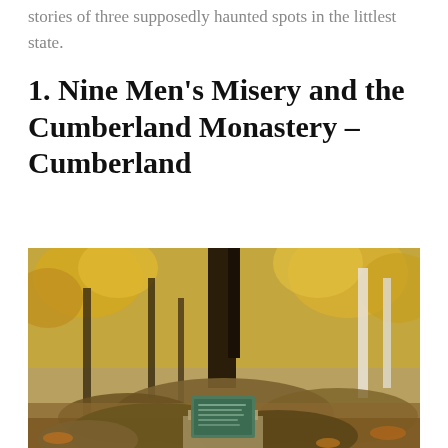stories of three supposedly haunted spots in the littlest state.
1. Nine Men's Misery and the Cumberland Monastery – Cumberland
[Figure (photo): Outdoor autumn forest scene with colorful yellow-orange foliage on trees, rocky ground, and a stone memorial with a bronze or green plaque in the foreground, likely at Nine Men's Misery site in Cumberland, Rhode Island.]